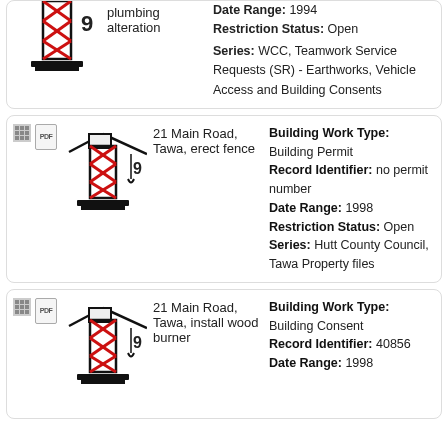plumbing alteration | Date Range: 1994 | Restriction Status: Open | Series: WCC, Teamwork Service Requests (SR) - Earthworks, Vehicle Access and Building Consents
21 Main Road, Tawa, erect fence | Building Work Type: Building Permit | Record Identifier: no permit number | Date Range: 1998 | Restriction Status: Open | Series: Hutt County Council, Tawa Property files
21 Main Road, Tawa, install wood burner | Building Work Type: Building Consent | Record Identifier: 40856 | Date Range: 1998